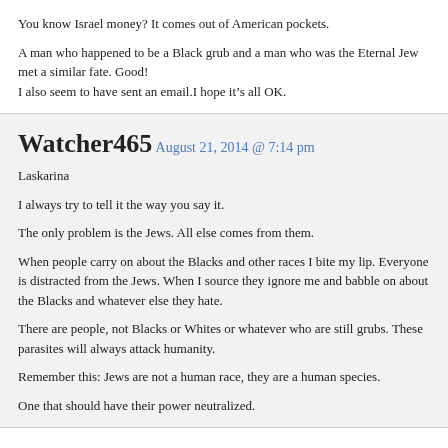You know Israel money? It comes out of American pockets.

A man who happened to be a Black grub and a man who was the Eternal Jew met a similar fate. Good!
I also seem to have sent an email.I hope it's all OK.
Watcher465
August 21, 2014 @ 7:14 pm
Laskarina

I always try to tell it the way you say it.

The only problem is the Jews. All else comes from them.

When people carry on about the Blacks and other races I bite my lip. Everyone is distracted from the Jews. When I source they ignore me and babble on about the Blacks and whatever else they hate.

There are people, not Blacks or Whites or whatever who are still grubs. These parasites will always attack humanity.

Remember this: Jews are not a human race, they are a human species.

One that should have their power neutralized.
BAB
August 21, 2014 @ 7:23 pm
I have just seen the Foley beheading video. It is obviously a fake.

This is another hoax to get the US to fight again in Iraq and Syria.